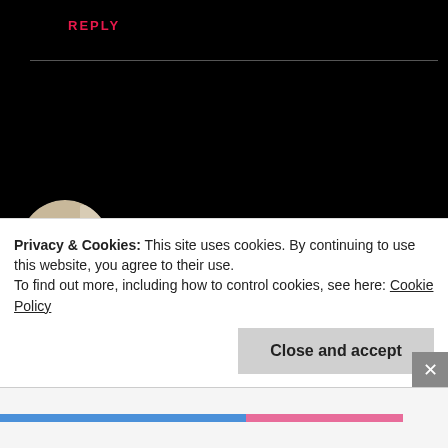REPLY
[Figure (photo): Circular avatar image of a person sitting, appears to be a blog comment section user photo for sbelle09]
sbelle09
DECEMBER 5, 2017 AT 6:43 AM
Privacy & Cookies: This site uses cookies. By continuing to use this website, you agree to their use.
To find out more, including how to control cookies, see here: Cookie Policy
Close and accept